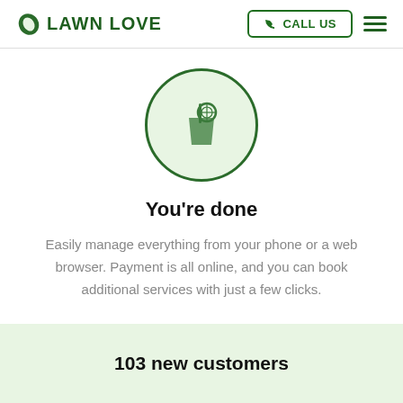LAWN LOVE  CALL US
[Figure (illustration): Green circle with a drink/glass icon containing a straw and citrus slice, on light green background]
You're done
Easily manage everything from your phone or a web browser. Payment is all online, and you can book additional services with just a few clicks.
103 new customers